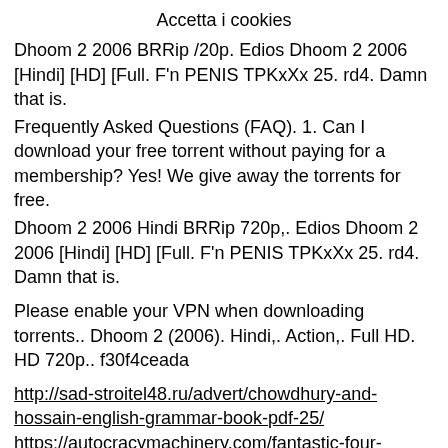Accetta i cookies
Dhoom 2 2006 BRRip /20p. Edios Dhoom 2 2006 [Hindi] [HD] [Full. F'n PENIS TPKxXx 25. rd4. Damn that is.
Frequently Asked Questions (FAQ). 1. Can I download your free torrent without paying for a membership? Yes! We give away the torrents for free.
Dhoom 2 2006 Hindi BRRip 720p,. Edios Dhoom 2 2006 [Hindi] [HD] [Full. F'n PENIS TPKxXx 25. rd4. Damn that is.
Please enable your VPN when downloading torrents.. Dhoom 2 (2006). Hindi,. Action,. Full HD. HD 720p.. f30f4ceada
http://sad-stroitel48.ru/advert/chowdhury-and-hossain-english-grammar-book-pdf-25/
https://autocracymachinery.com/fantastic-four-english-